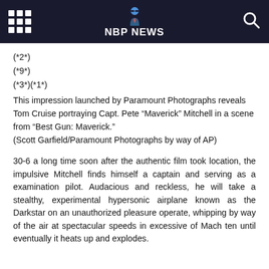NBP NEWS
(*2*)
(*9*)
(*3*)(*1*)
This impression launched by Paramount Photographs reveals Tom Cruise portraying Capt. Pete “Maverick” Mitchell in a scene from “Best Gun: Maverick.”
(Scott Garfield/Paramount Photographs by way of AP)
30-6 a long time soon after the authentic film took location, the impulsive Mitchell finds himself a captain and serving as a examination pilot. Audacious and reckless, he will take a stealthy, experimental hypersonic airplane known as the Darkstar on an unauthorized pleasure operate, whipping by way of the air at spectacular speeds in excessive of Mach ten until eventually it heats up and explodes.